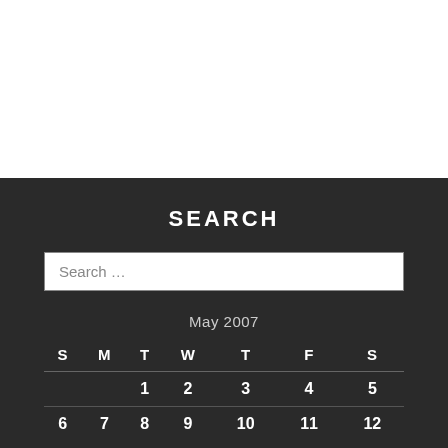SEARCH
Search ...
| S | M | T | W | T | F | S |
| --- | --- | --- | --- | --- | --- | --- |
|  |  | 1 | 2 | 3 | 4 | 5 |
| 6 | 7 | 8 | 9 | 10 | 11 | 12 |